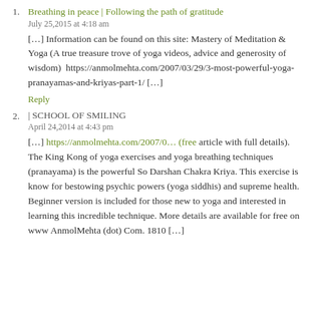1. Breathing in peace | Following the path of gratitude
July 25,2015 at 4:18 am
[…] Information can be found on this site: Mastery of Meditation & Yoga (A true treasure trove of yoga videos, advice and generosity of wisdom)  https://anmolmehta.com/2007/03/29/3-most-powerful-yoga-pranayamas-and-kriyas-part-1/ […]
Reply
2. | SCHOOL OF SMILING
April 24,2014 at 4:43 pm
[…] https://anmolmehta.com/2007/0… (free article with full details). The King Kong of yoga exercises and yoga breathing techniques (pranayama) is the powerful So Darshan Chakra Kriya. This exercise is know for bestowing psychic powers (yoga siddhis) and supreme health. Beginner version is included for those new to yoga and interested in learning this incredible technique. More details are available for free on www AnmolMehta (dot) Com. 1810 […]